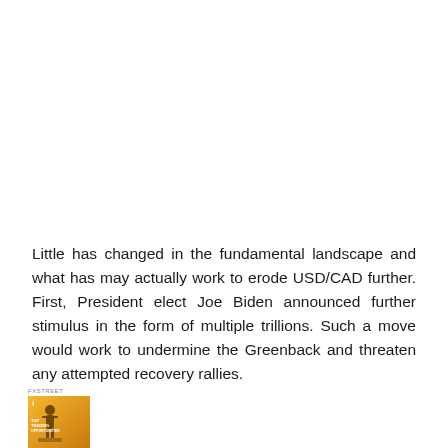Little has changed in the fundamental landscape and what has may actually work to erode USD/CAD further. First, President elect Joe Biden announced further stimulus in the form of multiple trillions. Such a move would work to undermine the Greenback and threaten any attempted recovery rallies.
[Figure (photo): Book cover with orange/yellow background showing a figure, titled 'TOP TRADING OPPORTUNITIES']